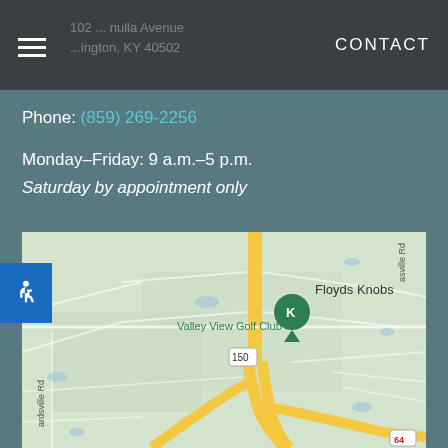CONTACT
Phone: (859) 269-2256
Monday–Friday: 9 a.m.–5 p.m.
Saturday by appointment only
[Figure (map): Google Maps showing location near Valley View Golf Club and Floyds Knobs area, with route 150 and route 64 visible]